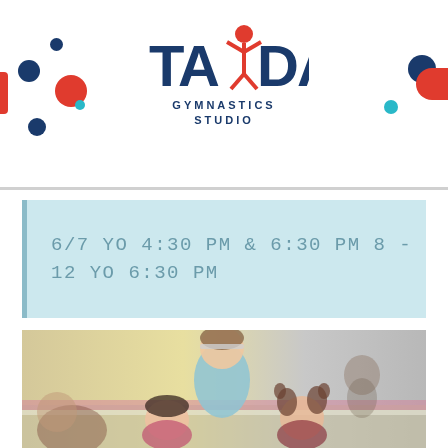TAYDA GYMNASTICS STUDIO
6/7 YO 4:30 PM & 6:30 PM 8 - 12 YO 6:30 PM
[Figure (photo): Children playing gymnastics at a studio, girls smiling and interacting on the floor]